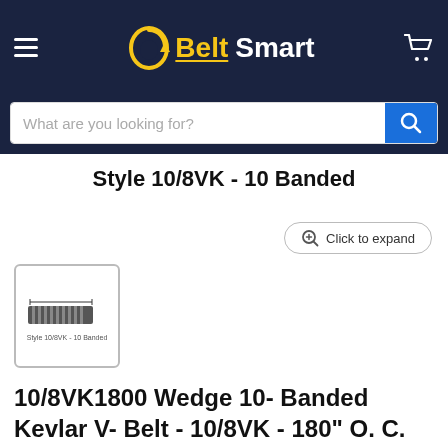Belt Smart
What are you looking for?
Style 10/8VK - 10 Banded
[Figure (screenshot): Click to expand button with magnifier icon]
[Figure (photo): Thumbnail image of banded V-belt product, labeled Style 10/8VK - 10 Banded]
10/8VK1800 Wedge 10- Banded Kevlar V- Belt - 10/8VK - 180" O. C.